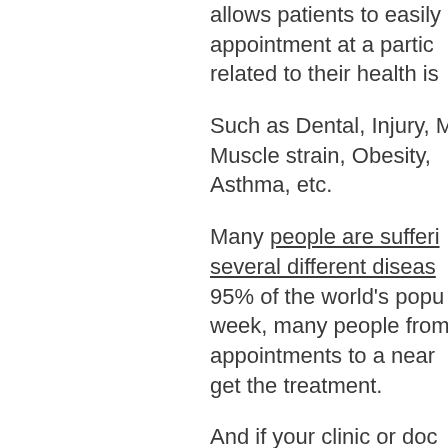allows patients to easily appointment at a partic related to their health is
Such as Dental, Injury, Muscle strain, Obesity, Asthma, etc.
Many people are suffering several different diseases 95% of the world's popu week, many people from appointments to a near get the treatment.
And if your clinic or doc has a doctor appointme